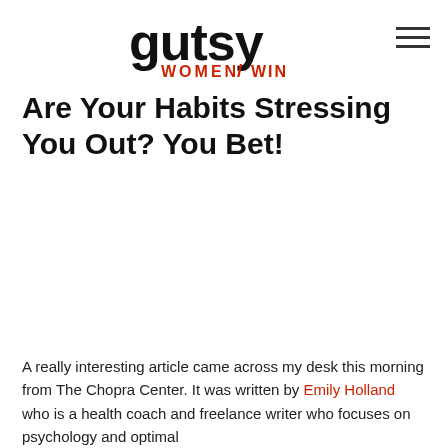gutsy WOMEN WIN
Are Your Habits Stressing You Out? You Bet!
A really interesting article came across my desk this morning from The Chopra Center. It was written by Emily Holland who is a health coach and freelance writer who focuses on psychology and optimal